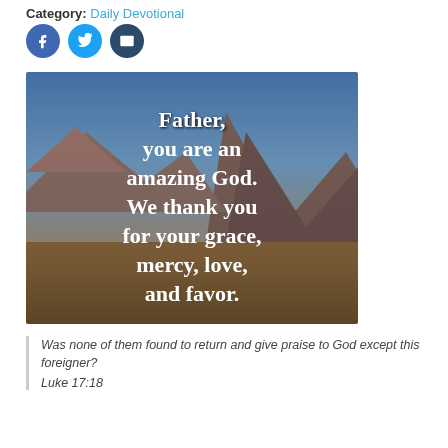Category: Daily Devotional
[Figure (illustration): Inspirational quote over a desert/mountain landscape background. White bold text reads: Father, you are an amazing God. We thank you for your grace, mercy, love, and favor.]
Was none of them found to return and give praise to God except this foreigner?
Luke 17:18